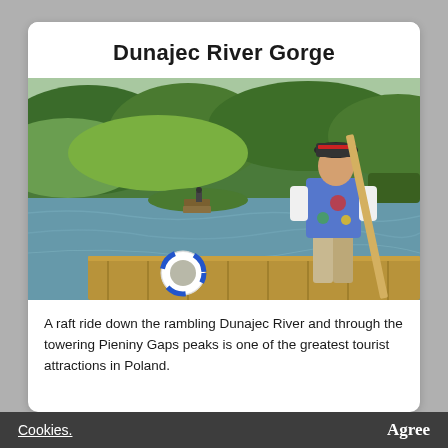Dunajec River Gorge
[Figure (photo): A man in traditional Polish highland costume (embroidered vest, black hat) stands on a wooden raft on the Dunajec River, holding a long pole. A life preserver ring is visible on the raft. Green hills and forest in the background. Another raft is visible in the distance.]
A raft ride down the rambling Dunajec River and through the towering Pieniny Gaps peaks is one of the greatest tourist attractions in Poland.
Cookies.    Agree